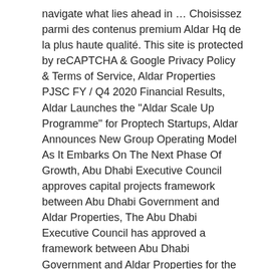navigate what lies ahead in … Choisissez parmi des contenus premium Aldar Hq de la plus haute qualité. This site is protected by reCAPTCHA & Google Privacy Policy & Terms of Service, Aldar Properties PJSC FY / Q4 2020 Financial Results, Aldar Launches the "Aldar Scale Up Programme" for Proptech Startups, Aldar Announces New Group Operating Model As It Embarks On The Next Phase Of Growth, Abu Dhabi Executive Council approves capital projects framework between Abu Dhabi Government and Aldar Properties, The Abu Dhabi Executive Council has approved a framework between Abu Dhabi Government and Aldar Properties for the development of capital projects in the emirate, Aldar signs agreement with Tabreed to sell Abu Dhabi district cooling assets for AED 963 million. See all 1 Aldar HQ Building tours on Tripadvisor. Find the travel option that best suits … Aldar Properties PJSC is the …